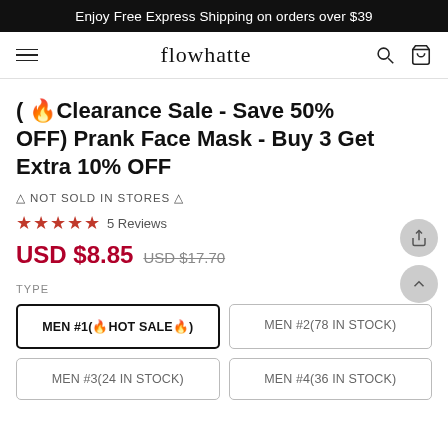Enjoy Free Express Shipping on orders over $39
flowhatte
( 🔥Clearance Sale - Save 50% OFF) Prank Face Mask - Buy 3 Get Extra 10% OFF
△ NOT SOLD IN STORES △
★★★★★ 5 Reviews
USD $8.85  USD $17.70
TYPE
MEN #1(🔥HOT SALE🔥)
MEN #2(78 IN STOCK)
MEN #3(24 IN STOCK)
MEN #4(36 IN STOCK)